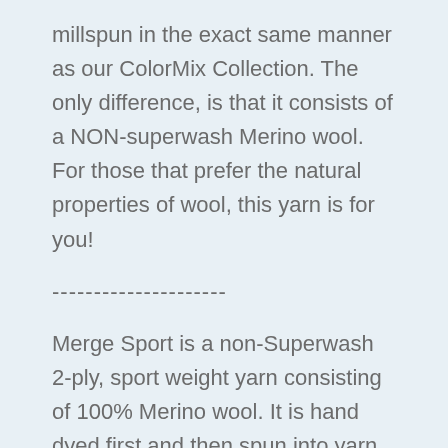millspun in the exact same manner as our ColorMix Collection. The only difference, is that it consists of a NON-superwash Merino wool. For those that prefer the natural properties of wool, this yarn is for you!
---------------------
Merge Sport is a non-Superwash 2-ply, sport weight yarn consisting of 100% Merino wool. It is hand dyed first and then spun into yarn on semi-worsted machinery, resulting in a yarn that is light, airy, and bouncy. This yarn will squish and bloom depending on your gauge and knitting/crochet style. We love this yarn weight for its ability to work for patterns calling for